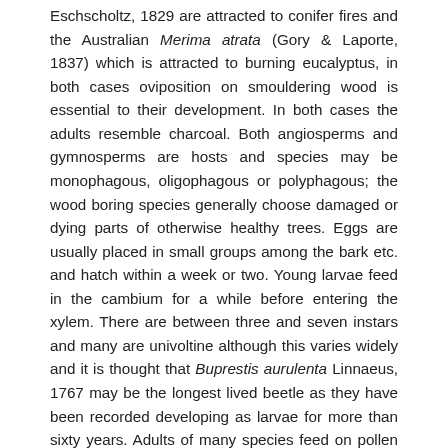Eschscholtz, 1829 are attracted to conifer fires and the Australian Merima atrata (Gory & Laporte, 1837) which is attracted to burning eucalyptus, in both cases oviposition on smouldering wood is essential to their development. In both cases the adults resemble charcoal. Both angiosperms and gymnosperms are hosts and species may be monophagous, oligophagous or polyphagous; the wood boring species generally choose damaged or dying parts of otherwise healthy trees. Eggs are usually placed in small groups among the bark etc. and hatch within a week or two. Young larvae feed in the cambium for a while before entering the xylem. There are between three and seven instars and many are univoltine although this varies widely and it is thought that Buprestis aurulenta Linnaeus, 1767 may be the longest lived beetle as they have been recorded developing as larvae for more than sixty years. Adults of many species feed on pollen or leaves and may be restricted to the host but are